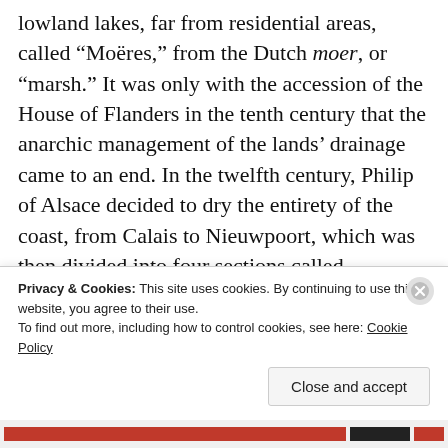lowland lakes, far from residential areas, called “Moëres,” from the Dutch moer, or “marsh.” It was only with the accession of the House of Flanders in the tenth century that the anarchic management of the lands’ drainage came to an end. In the twelfth century, Philip of Alsace decided to dry the entirety of the coast, from Calais to Nieuwpoort, which was then divided into four sections called wateringues. This titanic construction still did not entirely meet its objectives: floods, spring tides, tempests,
Privacy & Cookies: This site uses cookies. By continuing to use this website, you agree to their use.
To find out more, including how to control cookies, see here: Cookie Policy
Close and accept